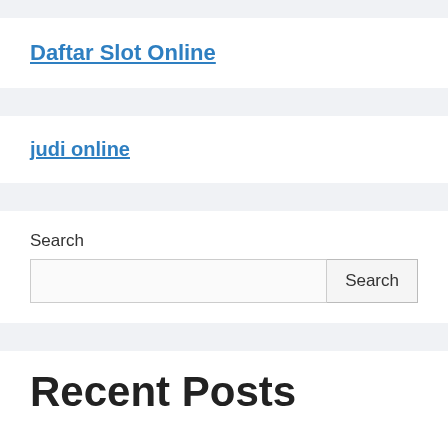Daftar Slot Online
judi online
Search
Recent Posts